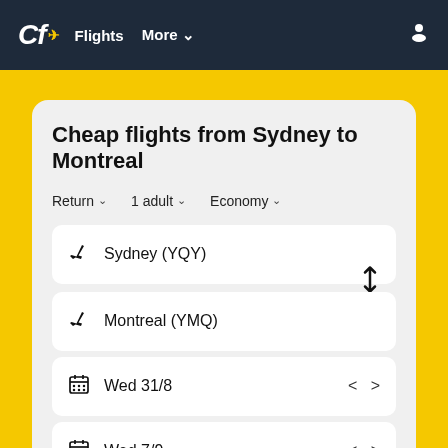Cf Flights More
Cheap flights from Sydney to Montreal
Return  1 adult  Economy
Sydney (YQY)
Montreal (YMQ)
Wed 31/8
Wed 7/9